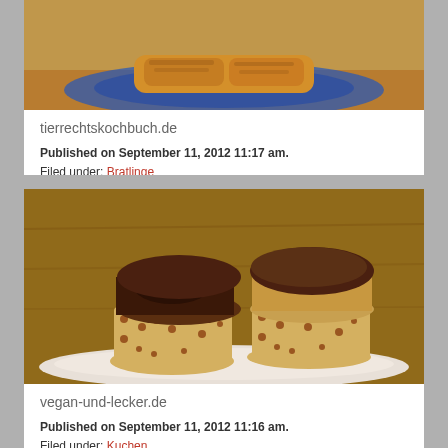[Figure (photo): Fried food (Bratlinge) on a blue plate, photographed from above on a wooden surface]
tierrechtskochbuch.de
Published on September 11, 2012 11:17 am.
Filed under: Bratlinge
[Figure (photo): Two chocolate-topped muffins in polka dot cupcake liners on a white plate; the left one is bitten open revealing dark chocolate interior]
vegan-und-lecker.de
Published on September 11, 2012 11:16 am.
Filed under: Kuchen